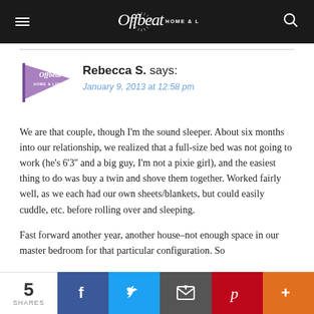Offbeat HOME & LIFE
[Figure (logo): Offbeat Home & Life pennant logo in purple]
Rebecca S. says:
January 9, 2013 at 12:58 pm
We are that couple, though I'm the sound sleeper. About six months into our relationship, we realized that a full-size bed was not going to work (he's 6'3'' and a big guy, I'm not a pixie girl), and the easiest thing to do was buy a twin and shove them together. Worked fairly well, as we each had our own sheets/blankets, but could easily cuddle, etc. before rolling over and sleeping.

Fast forward another year, another house–not enough space in our master bedroom for that particular configuration. So
5 SHARES | Facebook | Twitter | Email | Pinterest | More